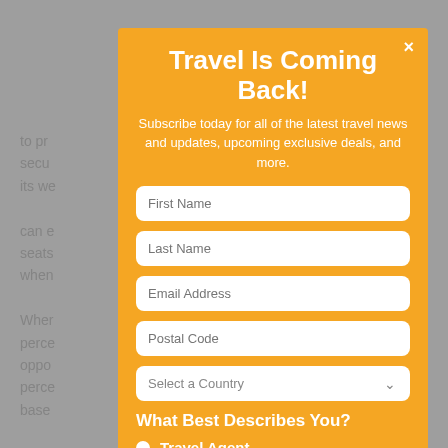Travel Is Coming Back!
Subscribe today for all of the latest travel news and updates, upcoming exclusive deals, and more.
What Best Describes You?
Travel Agent
Travel Supplier
Traveler